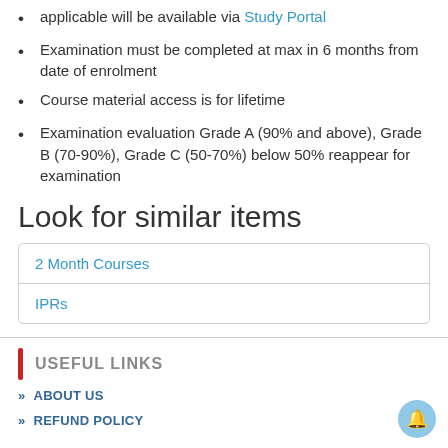applicable will be available via Study Portal
Examination must be completed at max in 6 months from date of enrolment
Course material access is for lifetime
Examination evaluation Grade A (90% and above), Grade B (70-90%), Grade C (50-70%) below 50% reappear for examination
Look for similar items
| 2 Month Courses |
| IPRs |
USEFUL LINKS
» ABOUT US
» REFUND POLICY